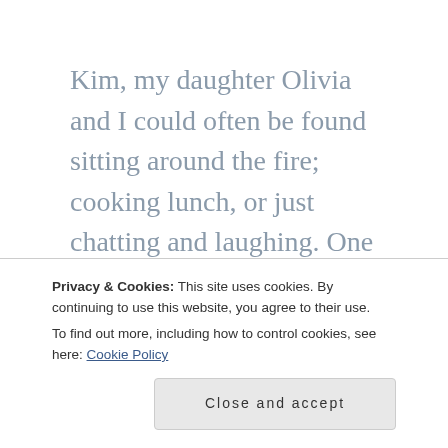Kim, my daughter Olivia and I could often be found sitting around the fire; cooking lunch, or just chatting and laughing. One of the things that made this trip so special was spending time with those ladies. It's quality time, without the distraction of cell phones, or TV, or any other connection to the outside world. Kim and I have spent very little time together in the grand scheme of things, just a week of
Privacy & Cookies: This site uses cookies. By continuing to use this website, you agree to their use.
To find out more, including how to control cookies, see here: Cookie Policy
Close and accept